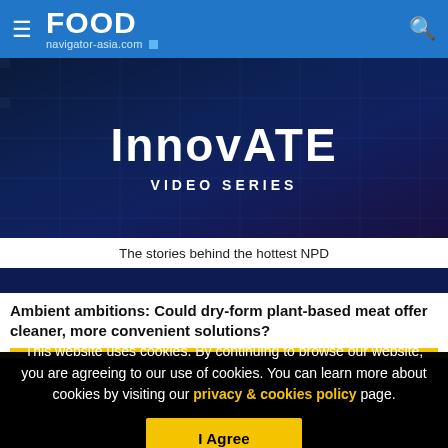FOOD navigator-asia.com
[Figure (screenshot): InnovATE VIDEO SERIES banner with dark navy background and grid lines. Text reads 'InnovATE' in large bold white letters with 'VIDEO SERIES' below. White strip below reads 'The stories behind the hottest NPD'. Dark strip at bottom of banner.]
Ambient ambitions: Could dry-form plant-based meat offer cleaner, more convenient solutions?
This website uses cookies. By continuing to browse our website, you are agreeing to our use of cookies. You can learn more about cookies by visiting our privacy & cookies policy page.